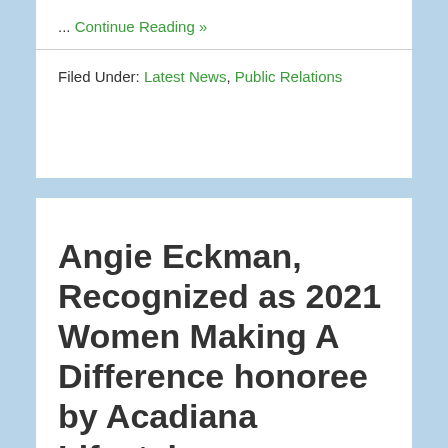... Continue Reading »
Filed Under: Latest News, Public Relations
Angie Eckman, Recognized as 2021 Women Making A Difference honoree by Acadiana Lifestyle
August 11, 2021 by ADWORX